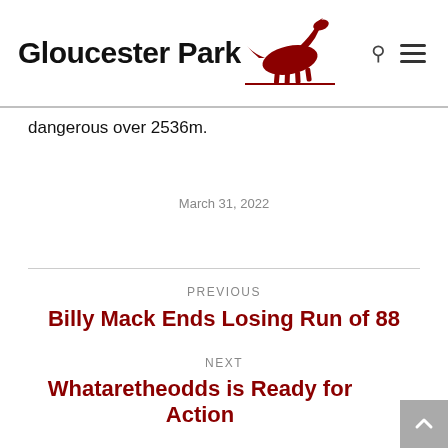Gloucester Park
dangerous over 2536m.
March 31, 2022
PREVIOUS
Billy Mack Ends Losing Run of 88
NEXT
Whataretheodds is Ready for Action